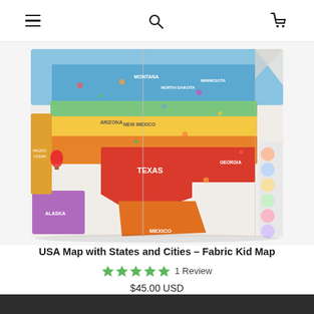Navigation header with hamburger menu, search icon, and cart icon
[Figure (photo): A colorful illustrated fabric map of the USA with states, cities, and illustrated icons. The map is shown folded/unfolded on a white surface. It shows states labeled including Texas, Montana, Arizona, New Mexico, and Mexico. The states are colored in blues, yellows, greens, oranges, and reds. A legend strip is visible on the right side.]
USA Map with States and Cities – Fabric Kid Map
★★★★★ 1 Review
$45.00 USD